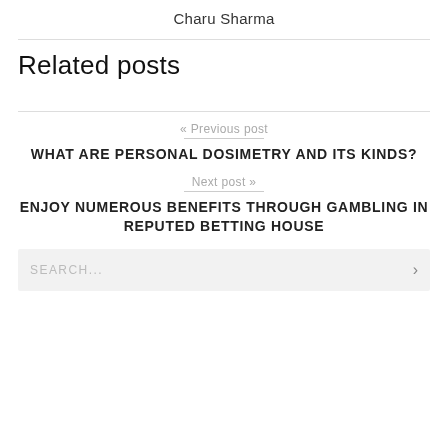Charu Sharma
Related posts
« Previous post
WHAT ARE PERSONAL DOSIMETRY AND ITS KINDS?
Next post »
ENJOY NUMEROUS BENEFITS THROUGH GAMBLING IN REPUTED BETTING HOUSE
SEARCH...